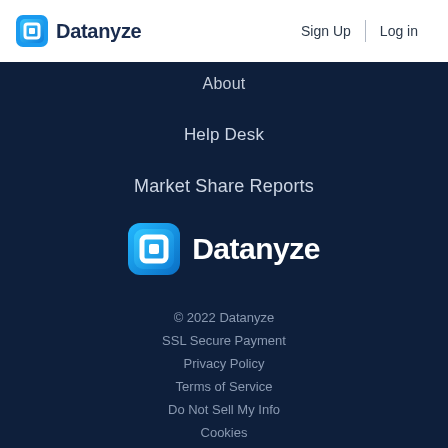[Figure (logo): Datanyze logo with blue square icon and text 'Datanyze' in dark navy]
Sign Up
Log in
About
Help Desk
Market Share Reports
[Figure (logo): Large Datanyze brand logo with blue icon and white 'Datanyze' text on dark background]
© 2022 Datanyze
SSL Secure Payment
Privacy Policy
Terms of Service
Do Not Sell My Info
Cookies